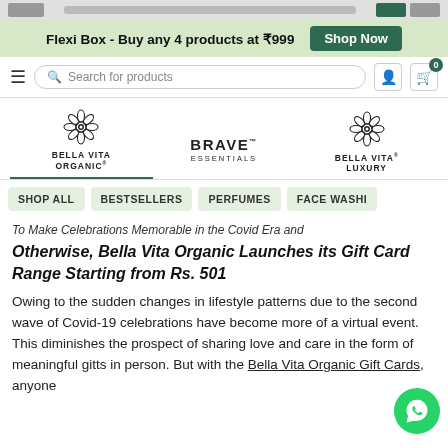Flexi Box - Buy any 4 products at ₹999  Shop Now
[Figure (screenshot): Website navigation bar with hamburger menu, search box 'Search for products', user icon, and cart icon with badge '0']
[Figure (logo): Three brand logos: Bella Vita Organic (active/selected), Brave Essentials, Bella Vita Luxury]
[Figure (screenshot): Filter tabs: SHOP ALL, BESTSELLERS, PERFUMES, FACE WASHI (cut off)]
To Make Celebrations Memorable in the Covid Era and Otherwise, Bella Vita Organic Launches its Gift Card Range Starting from Rs. 501
Otherwise, Bella Vita Organic Launches its Gift Card Range Starting from Rs. 501
Owing to the sudden changes in lifestyle patterns due to the second wave of Covid-19 celebrations have become more of a virtual event. This diminishes the prospect of sharing love and care in the form of meaningful gifts in person. But with the Bella Vita Organic Gift Cards, anyone